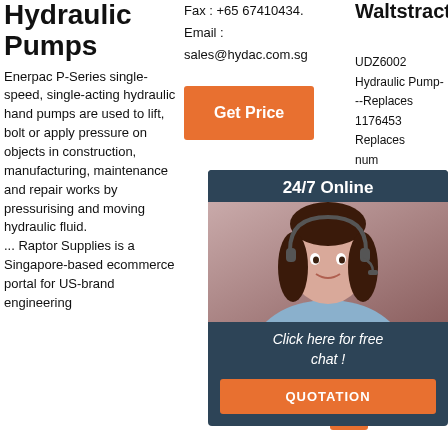Hydraulic Pumps
Enerpac P-Series single-speed, single-acting hydraulic hand pumps are used to lift, bolt or apply pressure on objects in construction, manufacturing, maintenance and repair works by pressurising and moving hydraulic fluid. ... Raptor Supplies is a Singapore-based ecommerce portal for US-brand engineering
Fax : +65 67410434.
Email :
sales@hydac.com.sg
[Figure (other): Orange 'Get Price' button]
Waltstractor
UDZ6002 Hydraulic Pump---Replaces 1176453 Replaces num 607: DX1 Hyd Spli
[Figure (other): 24/7 Online chat popup overlay with customer service representative photo. Dark navy background with '24/7 Online' header, photo of woman with headset, text 'Click here for free chat!', orange QUOTATION button.]
[Figure (other): Orange partial 'Get Price' button on right column]
[Figure (illustration): Orange 'TOP' back-to-top icon with upward arrows]